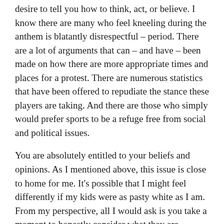desire to tell you how to think, act, or believe. I know there are many who feel kneeling during the anthem is blatantly disrespectful – period. There are a lot of arguments that can – and have – been made on how there are more appropriate times and places for a protest. There are numerous statistics that have been offered to repudiate the stance these players are taking. And there are those who simply would prefer sports to be a refuge free from social and political issues.
You are absolutely entitled to your beliefs and opinions. As I mentioned above, this issue is close to home for me. It's possible that I might feel differently if my kids were as pasty white as I am. From my perspective, all I would ask is you take a moment to honestly consider what they are protesting and truly put yourself in their shoes. If you still disagree, that is okay.
This is not a decision that came about lightly. I have